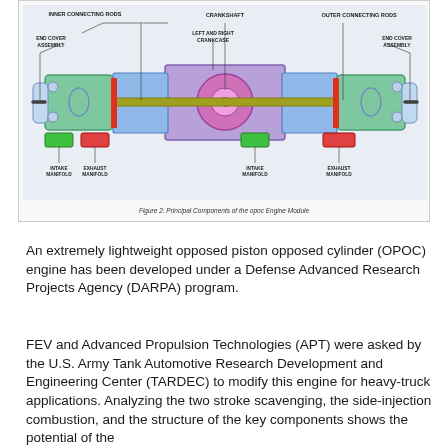[Figure (engineering-diagram): Cross-sectional diagram of an OPOC engine module showing principal components: inner connecting rods, crankshaft, outer connecting rods, end cover assembly (left), left and right crankcase, end cover assembly (right), intake manifold (left), exhaust manifold (left), intake manifold (right), exhaust manifold (right). Components are labeled with callout lines.]
Figure 2: Principal Components of the opoc Engine Module
An extremely lightweight opposed piston opposed cylinder (OPOC) engine has been developed under a Defense Advanced Research Projects Agency (DARPA) program.
FEV and Advanced Propulsion Technologies (APT) were asked by the U.S. Army Tank Automotive Research Development and Engineering Center (TARDEC) to modify this engine for heavy-truck applications. Analyzing the two stroke scavenging, the side-injection combustion, and the structure of the key components shows the potential of the